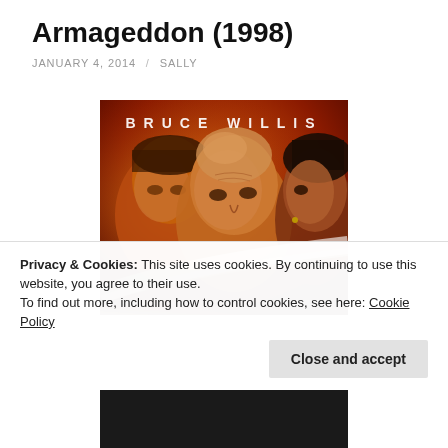Armageddon (1998)
JANUARY 4, 2014 / SALLY
[Figure (photo): Movie poster for Armageddon (1998) showing three actors against a red/orange background with text 'BRUCE WILLIS' at the top]
Privacy & Cookies: This site uses cookies. By continuing to use this website, you agree to their use.
To find out more, including how to control cookies, see here: Cookie Policy
Close and accept